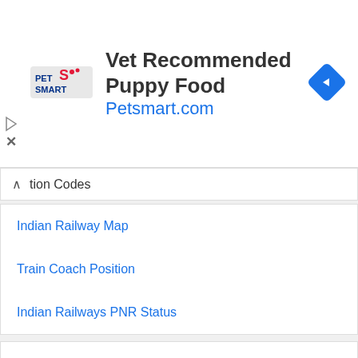[Figure (screenshot): PetSmart advertisement banner with logo, 'Vet Recommended Puppy Food' title, 'Petsmart.com' URL in blue, and a blue diamond navigation icon on the right]
tion Codes
Indian Railway Map
Train Coach Position
Indian Railways PNR Status
KALOL to ABU ROAD
KALOL to AHMEDABAD JN
KALOL to AJMER
KALOL to AHWAR JN